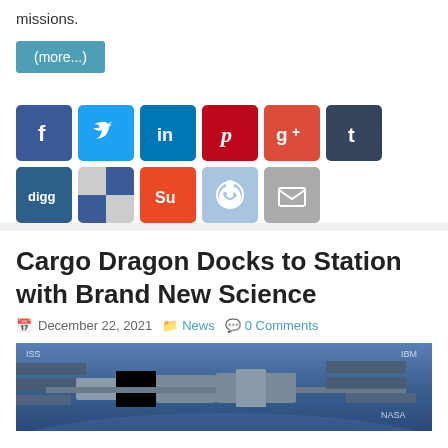missions.
(more...)
[Figure (other): Social media sharing icons: Facebook, Twitter, LinkedIn, Pinterest, Google+, Tumblr, Digg, Delicious, StumbleUpon, Reddit, Email]
Cargo Dragon Docks to Station with Brand New Science
December 22, 2021  News  0 Comments
[Figure (photo): Photograph of the International Space Station docked with Cargo Dragon, showing solar panels and station modules against a blue Earth background]